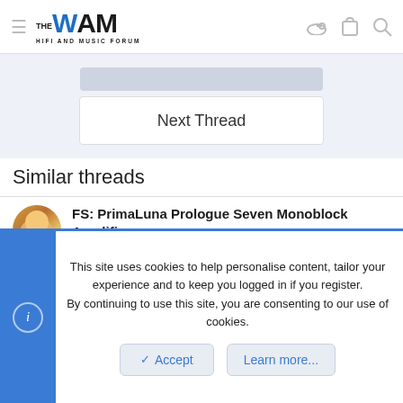THE WAM HIFI AND MUSIC FORUM
Next Thread
Similar threads
FS: PrimaLuna Prologue Seven Monoblock Amplifiers
robbie010 · Sold Items
This site uses cookies to help personalise content, tailor your experience and to keep you logged in if you register.
By continuing to use this site, you are consenting to our use of cookies.